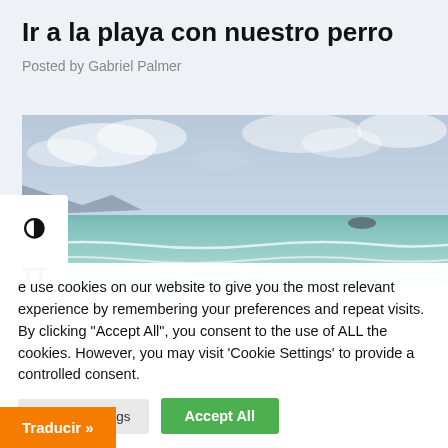Ir a la playa con nuestro perro
Posted by Gabriel Palmer
[Figure (photo): Beach scene with ocean waves, turquoise water and sky with clouds, a small rocky island visible in the distance]
e use cookies on our website to give you the most relevant experience by remembering your preferences and repeat visits. By clicking "Accept All", you consent to the use of ALL the cookies. However, you may visit 'Cookie Settings' to provide a controlled consent.